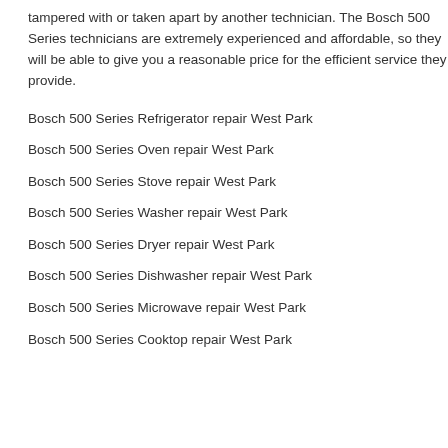tampered with or taken apart by another technician. The Bosch 500 Series technicians are extremely experienced and affordable, so they will be able to give you a reasonable price for the efficient service they provide.
Bosch 500 Series Refrigerator repair West Park
Bosch 500 Series Oven repair West Park
Bosch 500 Series Stove repair West Park
Bosch 500 Series Washer repair West Park
Bosch 500 Series Dryer repair West Park
Bosch 500 Series Dishwasher repair West Park
Bosch 500 Series Microwave repair West Park
Bosch 500 Series Cooktop repair West Park